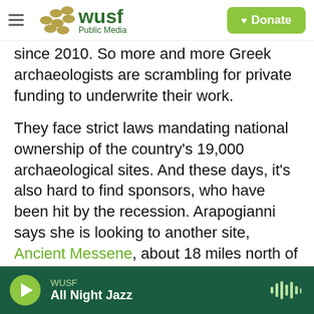WUSF Public Media | Donate
since 2010. So more and more Greek archaeologists are scrambling for private funding to underwrite their work.
They face strict laws mandating national ownership of the country's 19,000 archaeological sites. And these days, it's also hard to find sponsors, who have been hit by the recession. Arapogianni says she is looking to another site, Ancient Messene, about 18 miles north of Ancient Thouria, for inspiration.
The Theban general Epameinondas founded Ancient Messene in 369 B.C. after defeating the
WUSF | All Night Jazz